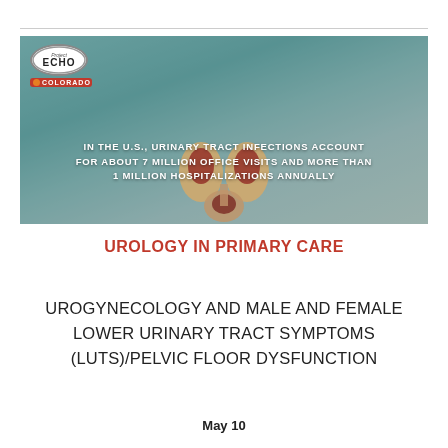[Figure (photo): Medical professional in teal scrubs holding anatomical urinary tract model, with ECHO Colorado logo in upper left and overlay text about UTI statistics in the U.S.]
IN THE U.S., URINARY TRACT INFECTIONS ACCOUNT FOR ABOUT 7 MILLION OFFICE VISITS AND MORE THAN 1 MILLION HOSPITALIZATIONS ANNUALLY
UROLOGY IN PRIMARY CARE
UROGYNECOLOGY AND MALE AND FEMALE LOWER URINARY TRACT SYMPTOMS (LUTS)/PELVIC FLOOR DYSFUNCTION
May 10